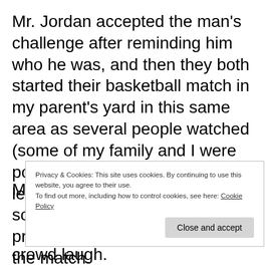Mr. Jordan accepted the man's challenge after reminding him who he was, and then they both started their basketball match in my parent's yard in this same area as several people watched (some of my family and I were possibly among them) and at least one person refereed and some people (maybe journalists) probably were video recording the match.
M... n... t... crowd laugh.
Privacy & Cookies: This site uses cookies. By continuing to use this website, you agree to their use. To find out more, including how to control cookies, see here: Cookie Policy
Close and accept